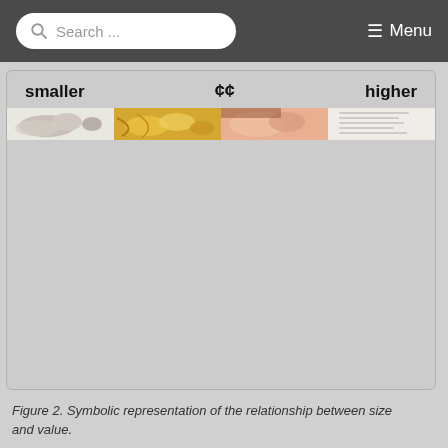Search ... ☰ Menu
[Figure (infographic): A figure box with labels 'smaller', '¢¢', and 'higher' across the top, and a strip of images below showing small to large food/coin/value relationships. Rest of box is gray background.]
Figure 2. Symbolic representation of the relationship between size and value.